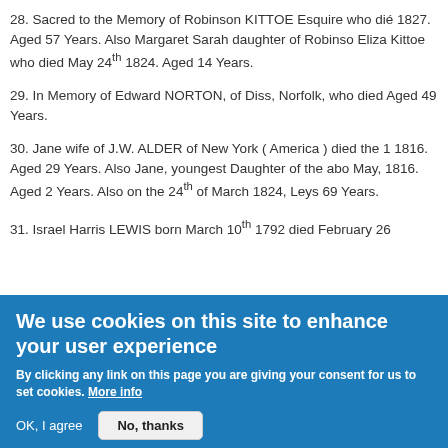28. Sacred to the Memory of Robinson KITTOE Esquire who die 1827. Aged 57 Years. Also Margaret Sarah daughter of Robinso Eliza Kittoe who died May 24th 1824. Aged 14 Years.
29. In Memory of Edward NORTON, of Diss, Norfolk, who died Aged 49 Years.
30. Jane wife of J.W. ALDER of New York ( America ) died the 1 1816. Aged 29 Years. Also Jane, youngest Daughter of the abo May, 1816. Aged 2 Years. Also on the 24th of March 1824, Leys 69 Years.
31. Israel Harris LEWIS born March 10th 1792 died February 26
We use cookies on this site to enhance your user experience
By clicking any link on this page you are giving your consent for us to set cookies. More info
OK, I agree
No, thanks